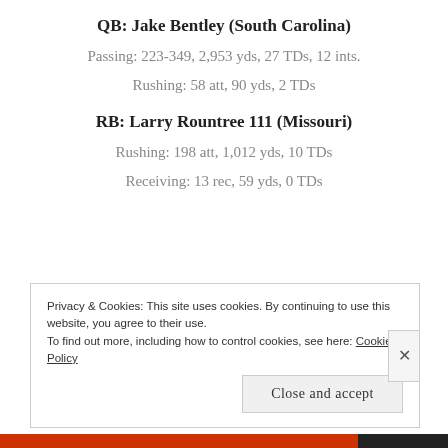QB: Jake Bentley (South Carolina)
Passing: 223-349, 2,953 yds, 27 TDs, 12 ints.
Rushing: 58 att, 90 yds, 2 TDs
RB: Larry Rountree 111 (Missouri)
Rushing: 198 att, 1,012 yds, 10 TDs
Receiving: 13 rec, 59 yds, 0 TDs
Privacy & Cookies: This site uses cookies. By continuing to use this website, you agree to their use.
To find out more, including how to control cookies, see here: Cookie Policy
Close and accept